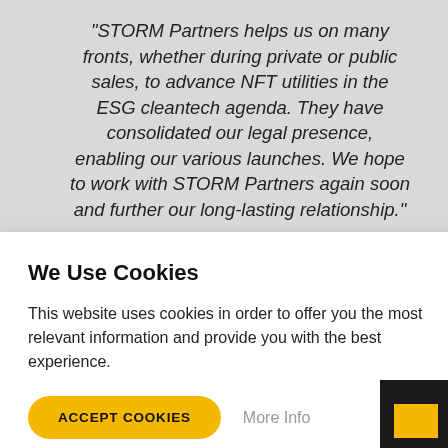“STORM Partners helps us on many fronts, whether during private or public sales, to advance NFT utilities in the ESG cleantech agenda. They have consolidated our legal presence, enabling our various launches. We hope to work with STORM Partners again soon and further our long-lasting relationship.”
We Use Cookies
This website uses cookies in order to offer you the most relevant information and provide you with the best experience.
ACCEPT COOKIES
More Info